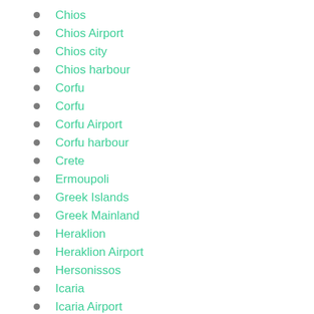Chios
Chios Airport
Chios city
Chios harbour
Corfu
Corfu
Corfu Airport
Corfu harbour
Crete
Ermoupoli
Greek Islands
Greek Mainland
Heraklion
Heraklion Airport
Hersonissos
Icaria
Icaria Airport